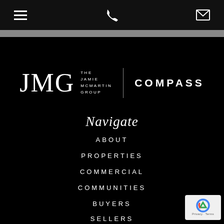Navigation bar with hamburger menu, phone icon, and email icon
[Figure (logo): JMG The Jamie McMartin Group logo alongside Compass wordmark on black background]
Navigate
ABOUT
PROPERTIES
COMMERCIAL
COMMUNITIES
BUYERS
SELLERS